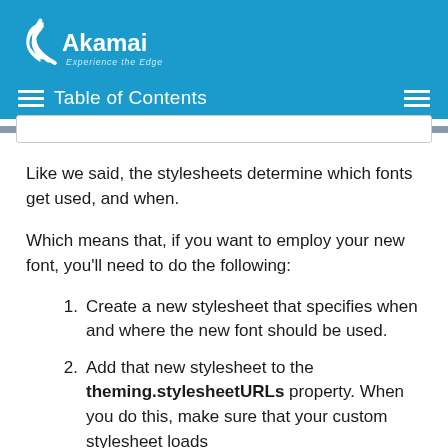Akamai — Experience the Edge — Table of Contents
Like we said, the stylesheets determine which fonts get used, and when.
Which means that, if you want to employ your new font, you'll need to do the following:
1. Create a new stylesheet that specifies when and where the new font should be used.
2. Add that new stylesheet to the theming.stylesheetURLs property. When you do this, make sure that your custom stylesheet loads